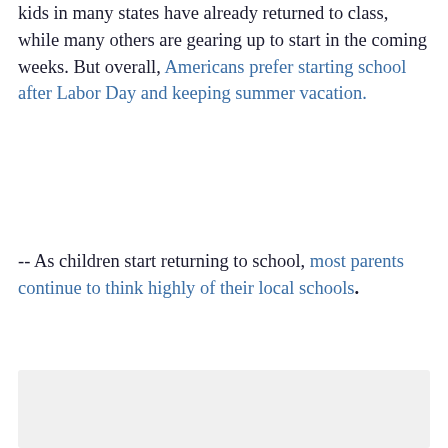kids in many states have already returned to class, while many others are gearing up to start in the coming weeks. But overall, Americans prefer starting school after Labor Day and keeping summer vacation.
-- As children start returning to school, most parents continue to think highly of their local schools.